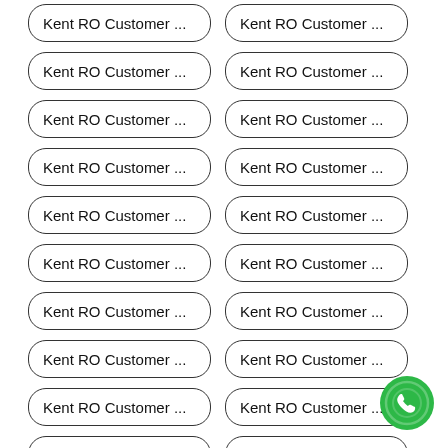Kent RO Customer ...
Kent RO Customer ...
Kent RO Customer ...
Kent RO Customer ...
Kent RO Customer ...
Kent RO Customer ...
Kent RO Customer ...
Kent RO Customer ...
Kent RO Customer ...
Kent RO Customer ...
Kent RO Customer ...
Kent RO Customer ...
Kent RO Customer ...
Kent RO Customer ...
Kent RO Customer ...
Kent RO Customer ...
Kent RO Customer ...
Kent RO Customer ...
Kent RO Customer ...
Kent RO Customer ...
Kent RO Customer ...
Kent RO Customer ...
[Figure (illustration): Green phone/call floating action button]